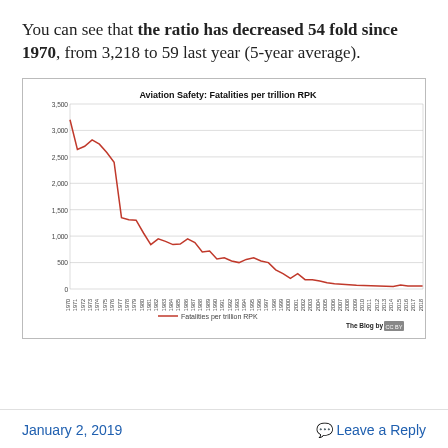You can see that the ratio has decreased 54 fold since 1970, from 3,218 to 59 last year (5-year average).
[Figure (line-chart): Line chart showing aviation fatalities per trillion RPK declining steeply from ~3,218 in 1970 to ~59 in 2018.]
January 2, 2019    Leave a Reply